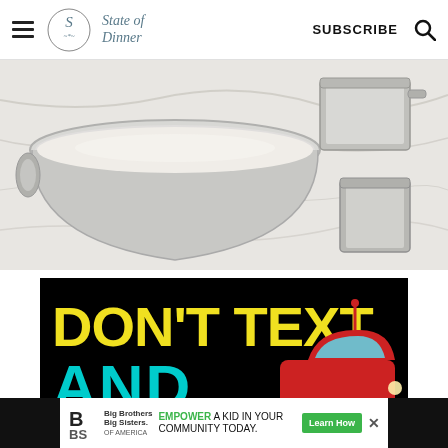[Figure (logo): State of Dinner website header with hamburger menu, circular logo with stylized S and floral elements, brand name 'State of Dinner' in italic script, SUBSCRIBE button, and search icon]
[Figure (photo): Overhead photo of baking ingredients: a large silver mixing bowl with flour/dough mixture on marble surface, alongside two stainless steel measuring cups]
[Figure (photo): Advertisement banner on black background with large yellow bold text 'DON'T TEXT' and cyan text 'AND' partially visible, with a red cartoon car/vehicle illustration]
[Figure (other): Bottom advertisement overlay: Big Brothers Big Sisters logo, green text 'EMPOWER A KID IN YOUR COMMUNITY TODAY.' with green 'Learn How' button and X close button]